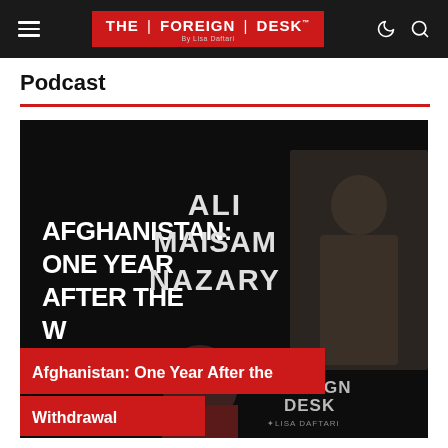THE | FOREIGN | DESK — By Lisa Daftari
Podcast
[Figure (photo): Podcast thumbnail for 'Afghanistan: One Year After the Withdrawal' featuring Ali Maisam Nazary and Lisa Daftari, with The Foreign Desk logo. Dark background with bold white text on left reading 'AFGHANISTAN: ONE YEAR AFTER THE W[ITHDRAWAL]' and a red title overlay at the bottom reading 'Afghanistan: One Year After the Withdrawal'.]